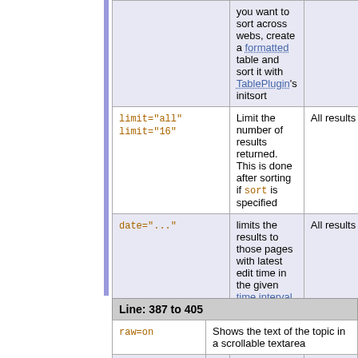| Parameter | Description | Default |
| --- | --- | --- |
|  | you want to sort across webs, create a formatted table and sort it with TablePlugin's initsort |  |
| limit="all"
limit="16" | Limit the number of results returned. This is done after sorting if sort is specified | All results |
| date="..." | limits the results to those pages with latest edit time in the given time interval. | All results |
| reverse="on" | Reverse the direction of the search | Ascending search |
| casesensitive="on" | Case sensitive search | Ignore case |
Line: 387 to 405
| Parameter | Description |
| --- | --- |
| raw=on | Shows the text of the topic in a scrollable textarea |
| raw=debug | As raw=on, but also shows the metadata (forms etc) associated with the topic. |